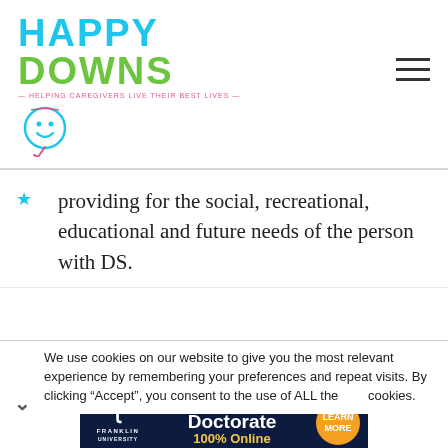[Figure (logo): Happy Downs logo with cyan 'HAPPY', green 'DOWNS', pink tagline 'Helping Caregivers Live Their Best Lives', and a smiley face circle icon]
providing for the social, recreational, educational and future needs of the person with DS.
We use cookies on our website to give you the most relevant experience by remembering your preferences and repeat visits. By clicking “Accept”, you consent to the use of ALL the cookies.
[Figure (screenshot): Franklin University advertisement banner: Earn Your Doctorate 100% Online, with Learn More button]